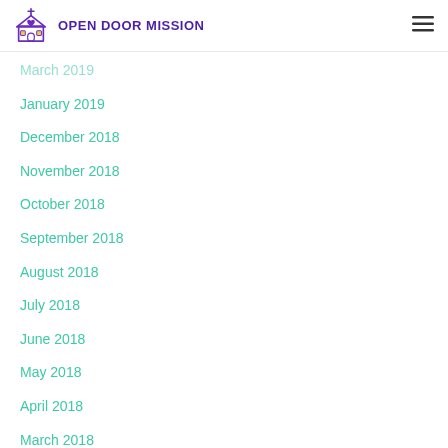Open Door Mission
March 2019
January 2019
December 2018
November 2018
October 2018
September 2018
August 2018
July 2018
June 2018
May 2018
April 2018
March 2018
February 2018